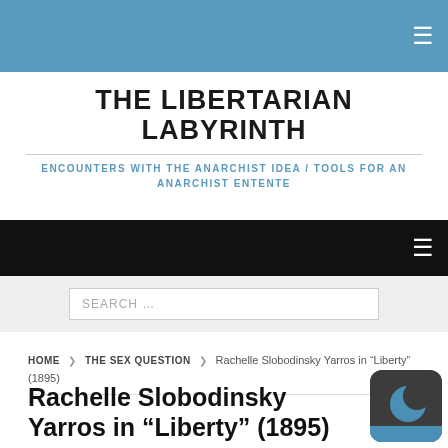THE LIBERTARIAN LABYRINTH
ENCOUNTERS WITH THE ANARCHIST IDEA / TOOLS FOR AN ANARCHIST ENTENTE
SEARCH ...
HOME > THE SEX QUESTION > Rachelle Slobodinsky Yarros in “Liberty” (1895)
Rachelle Slobodinsky Yarros in “Liberty” (1895)